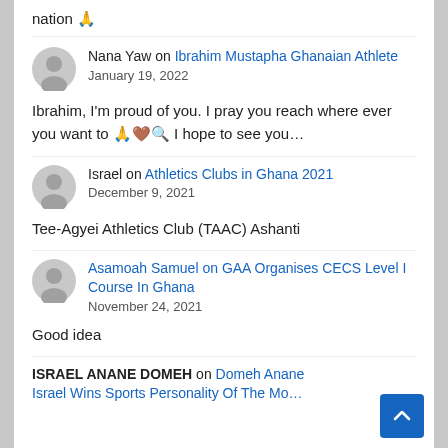nation 🙏
Nana Yaw on Ibrahim Mustapha Ghanaian Athlete
January 19, 2022
Ibrahim, I'm proud of you. I pray you reach where ever you want to 🙏🤎🔍 I hope to see you…
Israel on Athletics Clubs in Ghana 2021
December 9, 2021
Tee-Agyei Athletics Club (TAAC) Ashanti
Asamoah Samuel on GAA Organises CECS Level I Course In Ghana
November 24, 2021
Good idea
ISRAEL ANANE DOMEH on Domeh Anane Israel Wins Sports Personality Of The Mo…